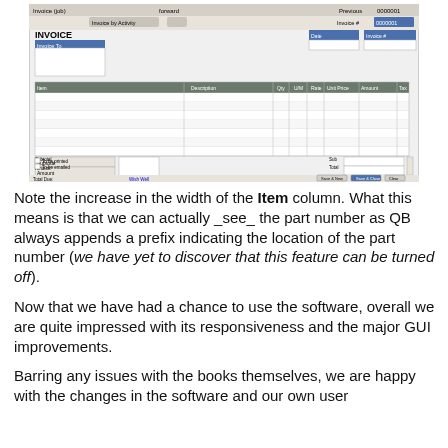[Figure (screenshot): Screenshot of a QuickBooks invoice entry window showing an invoice form with an expanded Item column, customer fields, line items grid, and action buttons at the bottom.]
Note the increase in the width of the Item column. What this means is that we can actually _see_ the part number as QB always appends a prefix indicating the location of the part number (we have yet to discover that this feature can be turned off).
Now that we have had a chance to use the software, overall we are quite impressed with its responsiveness and the major GUI improvements.
Barring any issues with the books themselves, we are happy with the changes in the software and our own user